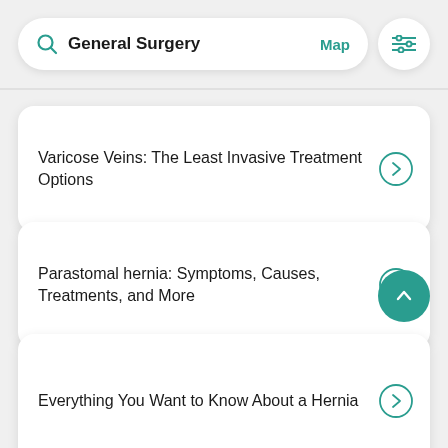General Surgery  Map
Varicose Veins: The Least Invasive Treatment Options
Parastomal hernia: Symptoms, Causes, Treatments, and More
Everything You Want to Know About a Hernia